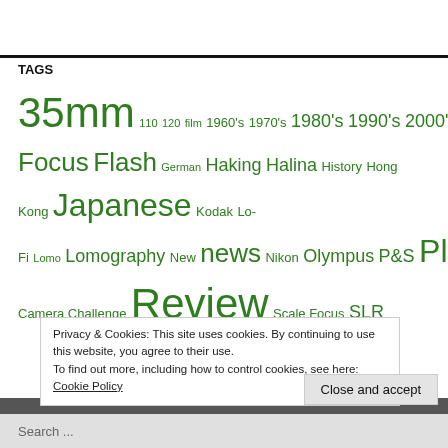TAGS
35mm 110 120 film 1960's 1970's 1980's 1990's 2000's 2018 2019 2020 Analogue Autofocus blogs Camera Cameras Canon China Digital Film Fixed-Focus Flash German Haking Halina History Hong Kong Japanese Kodak Lo-Fi Lomo Lomography New news Nikon Olympus P&S Plastic Poundland Camera Challenge Review Scale Focus SLR
Privacy & Cookies: This site uses cookies. By continuing to use this website, you agree to their use.
To find out more, including how to control cookies, see here: Cookie Policy
Close and accept
Search ...